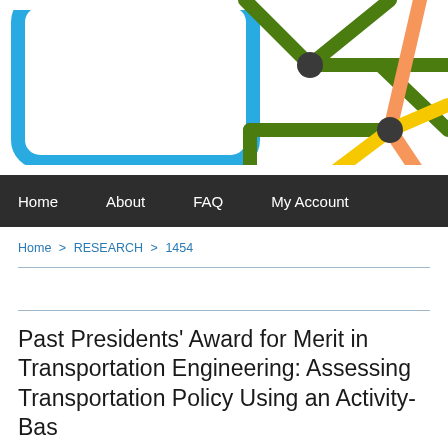[Figure (illustration): Colorful metro/subway map style graphic showing colored lines (blue, green, orange, yellow) intersecting with dark circular nodes on a white background. Partial view cropped at page edges.]
Home   About   FAQ   My Account
Home > RESEARCH > 1454
Past Presidents' Award for Merit in Transportation Engineering: Assessing Transportation Policy Using an Activity-Bas